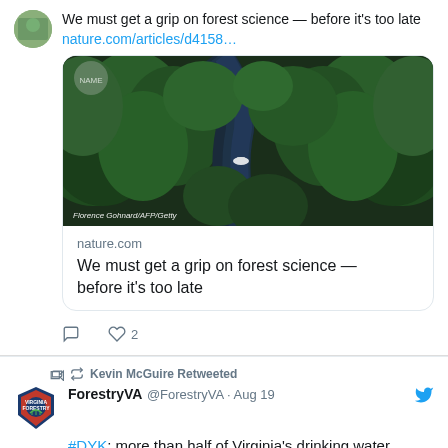We must get a grip on forest science — before it's too late nature.com/articles/d4158...
[Figure (photo): Aerial view of a river winding through dense green forest, with a boat on the water. Photo credit: Florence Gohnard/AFP/Getty]
nature.com
We must get a grip on forest science — before it's too late
♡ 2
Kevin McGuire Retweeted
ForestryVA @ForestryVA · Aug 19
#DYK: more than half of Virginia's drinking water originates on forest land? Healthy forests provide clean drinking water by: